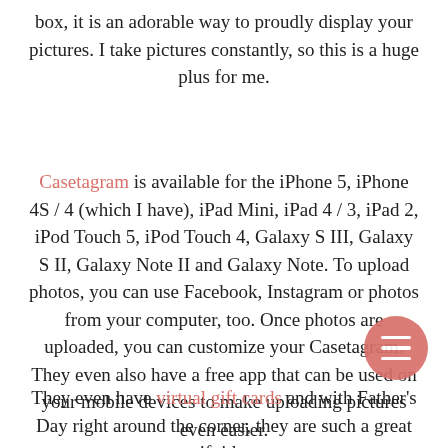box, it is an adorable way to proudly display your pictures. I take pictures constantly, so this is a huge plus for me.
Casetagram is available for the iPhone 5, iPhone 4S / 4 (which I have), iPad Mini, iPad 4 / 3, iPad 2, iPod Touch 5, iPod Touch 4, Galaxy S III, Galaxy S II, Galaxy Note II and Galaxy Note. To upload photos, you can use Facebook, Instagram or photos from your computer, too. Once photos are uploaded, you can customize your Casetagram. They even also have a free app that can be used on your mobile devices to make uploading pictures even easier.
They even have virtual gift cards and with Father's Day right around the corner, they are such a great gift idea.